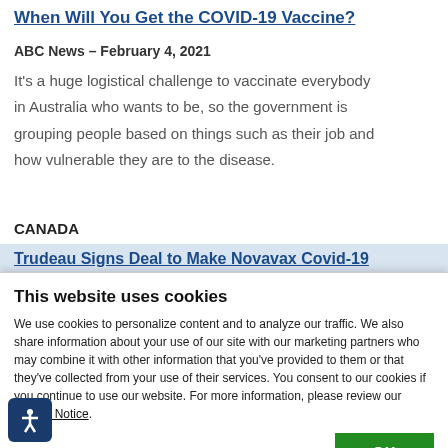When Will You Get the COVID-19 Vaccine?
ABC News – February 4, 2021
It's a huge logistical challenge to vaccinate everybody in Australia who wants to be, so the government is grouping people based on things such as their job and how vulnerable they are to the disease.
CANADA
Trudeau Signs Deal to Make Novavax Covid-19
This website uses cookies
We use cookies to personalize content and to analyze our traffic. We also share information about your use of our site with our marketing partners who may combine it with other information that you've provided to them or that they've collected from your use of their services. You consent to our cookies if you continue to use our website. For more information, please review our Cookie Notice.
OK
Necessary   Preferences   Statistics   Show details
Marketing